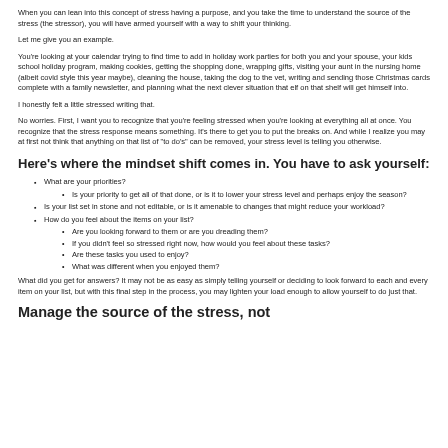When you can lean into this concept of stress having a purpose, and you take the time to understand the source of the stress (the stressor), you will have armed yourself with a way to shift your thinking.
Let me give you an example.
You're looking at your calendar trying to find time to add in holiday work parties for both you and your spouse, your kids school holiday program, making cookies, getting the shopping done, wrapping gifts, visiting your aunt in the nursing home (albeit covid style this year maybe), cleaning the house, taking the dog to the vet, writing and sending those Christmas cards complete with a family newsletter, and planning what the next clever situation that elf on that shelf will get himself into.
I honestly felt a little stressed writing that.
No worries. First, I want you to recognize that you're feeling stressed when you're looking at everything all at once. You recognize that the stress response means something. It's there to get you to put the breaks on. And while I realize you may at first not think that anything on that list of "to do's" can be removed, your stress level is telling you otherwise.
Here's where the mindset shift comes in. You have to ask yourself:
What are your priorities?
Is your priority to get all of that done, or is it to lower your stress level and perhaps enjoy the season?
Is your list set in stone and not editable, or is it amenable to changes that might reduce your workload?
How do you feel about the items on your list?
Are you looking forward to them or are you dreading them?
If you didn't feel so stressed right now, how would you feel about these tasks?
Are these tasks you used to enjoy?
What was different when you enjoyed them?
What did you get for answers? It may not be as easy as simply telling yourself or deciding to look forward to each and every item on your list, but with this final step in the process, you may lighten your load enough to allow yourself to do just that.
Manage the source of the stress, not